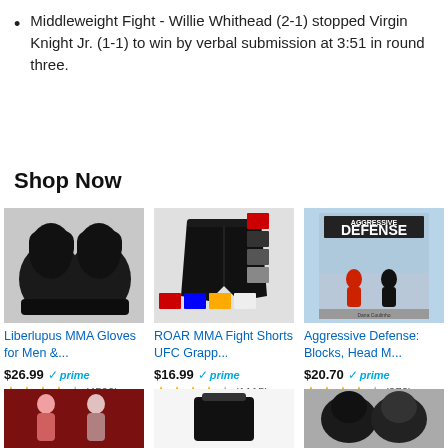Middleweight Fight - Willie Whithead (2-1) stopped Virgin Knight Jr. (1-1) to win by verbal submission at 3:51 in round three.
Shop Now
[Figure (photo): MMA gloves - Liberlupus MMA Gloves for Men &...]
[Figure (photo): MMA shorts - ROAR MMA Fight Shorts UFC Grapp...]
[Figure (photo): Book cover - Aggressive Defense: Blocks, Head M...]
[Figure (photo): MMA fighters photo - bottom left product]
[Figure (photo): Black pad/bag - bottom center product]
[Figure (photo): MMA gloves - bottom right product]